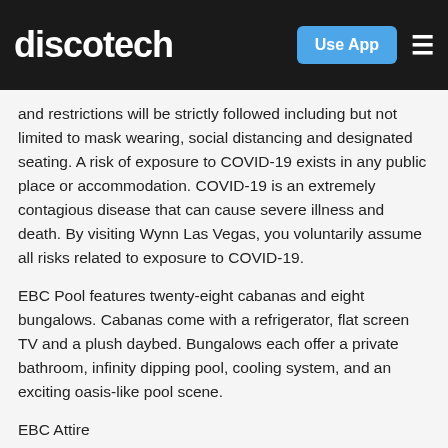discotech | Use App
and restrictions will be strictly followed including but not limited to mask wearing, social distancing and designated seating. A risk of exposure to COVID-19 exists in any public place or accommodation. COVID-19 is an extremely contagious disease that can cause severe illness and death. By visiting Wynn Las Vegas, you voluntarily assume all risks related to exposure to COVID-19.
EBC Pool features twenty-eight cabanas and eight bungalows. Cabanas come with a refrigerator, flat screen TV and a plush daybed. Bungalows each offer a private bathroom, infinity dipping pool, cooling system, and an exciting oasis-like pool scene.
EBC Attire
Appropriate attire is required and strictly enforced.
Proper swim attire includes: No undergarments allowed for sunbathing/swimming. No see-through, risqué, or indecent clothing or swimwear. European style sunbathing is not